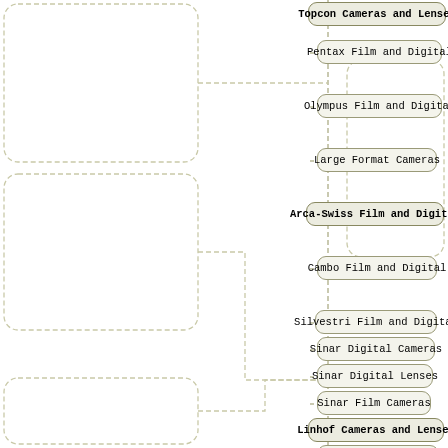[Figure (organizational-chart): Mind map / hierarchical tree diagram showing camera and lens categories. Top-right branch includes: Topcon Cameras and Lenses, Pentax Film and Digital, Olympus Film and Digital, Large Format Cameras, Arca-Swiss Film and Digital, Cambo Film and Digital, Silvestri Film and Digital, Sinar Digital Cameras, Sinar Digital Lenses, Sinar Film Cameras, Linhof Cameras and Lenses, Linhof Accessories, Graflex Cameras and Lenses, Large Format Lenses, Schneider Digital Lenses, Schneider LF lenses, Rodenstock Digital Lenses, Rodenstock LF lenses, Soft Focus Lenses, Protar and Plasmat Lenses. Connector lines with rounded corners in dashed/dotted style connect the nodes.]